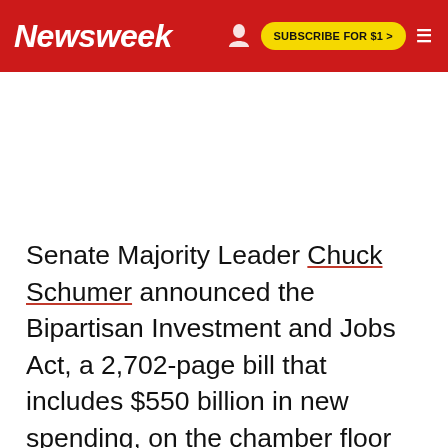Newsweek | SUBSCRIBE FOR $1 >
Senate Majority Leader Chuck Schumer announced the Bipartisan Investment and Jobs Act, a 2,702-page bill that includes $550 billion in new spending, on the chamber floor during a rare Sunday session.